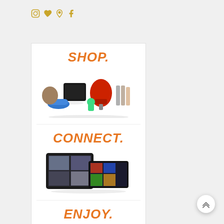[Figure (logo): Social media icons row: Instagram, heart/Fancy, Pinterest, Facebook in gold/amber color]
[Figure (illustration): Product collage: PlayStation console, red KitchenAid mixer, bag, sneakers, Android figure, books, silver bottles]
SHOP.
[Figure (illustration): Two Kindle Fire tablets showing movie/media content]
CONNECT.
ENJOY.
[Figure (photo): Movie/entertainment image partially visible at bottom]